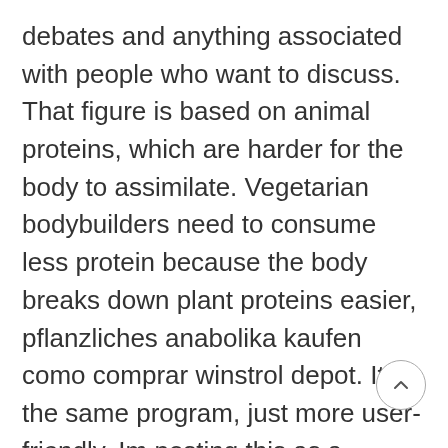debates and anything associated with people who want to discuss. That figure is based on animal proteins, which are harder for the body to assimilate. Vegetarian bodybuilders need to consume less protein because the body breaks down plant proteins easier, pflanzliches anabolika kaufen como comprar winstrol depot. Its the same program, just more user-friendly. Im posting this as a separate post because so many people search for the Reddit PPL and end up finding an old, not-so-great spreadsheet, pflanzliches anabolika kaufen testosteron tabletter köpa. So basically, Cardarine will most likely stay legal, pflanzliches anabolika kaufen anabola steroider utslag. Its very unlikely, however, that it ever gets FDA approved. Just